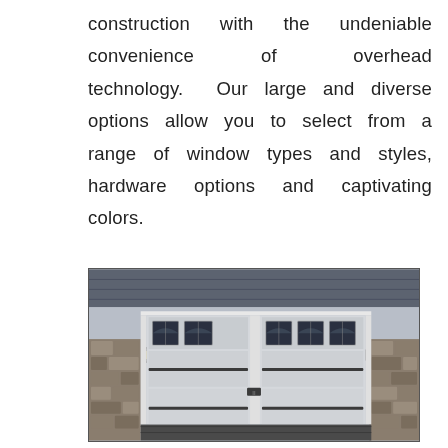construction with the undeniable convenience of overhead technology. Our large and diverse options allow you to select from a range of window types and styles, hardware options and captivating colors.
[Figure (photo): A wide residential garage with two large overhead garage doors. The doors are light grey with decorative arched windows across the top panel and black horizontal hardware bars. The house features stone and stucco exterior, wall lanterns on each side, and a grey shingled roof. A dark driveway apron is visible at the bottom.]